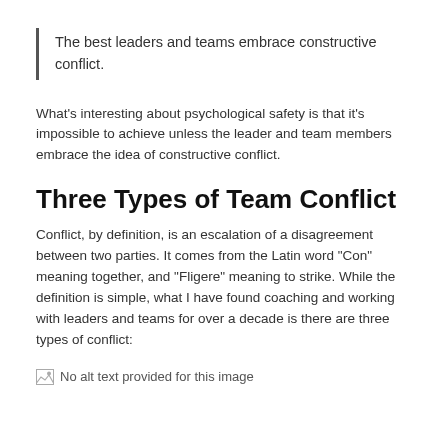The best leaders and teams embrace constructive conflict.
What's interesting about psychological safety is that it's impossible to achieve unless the leader and team members embrace the idea of constructive conflict.
Three Types of Team Conflict
Conflict, by definition, is an escalation of a disagreement between two parties. It comes from the Latin word “Con” meaning together, and “Fligere” meaning to strike. While the definition is simple, what I have found coaching and working with leaders and teams for over a decade is there are three types of conflict:
[Figure (other): Broken image placeholder with text: No alt text provided for this image]